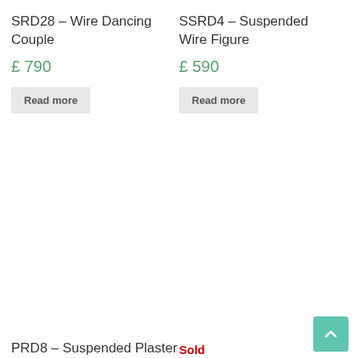SRD28 – Wire Dancing Couple
£ 790
Read more
SSRD4 – Suspended Wire Figure
£ 590
Read more
Sold
PRD8 – Suspended Plaster